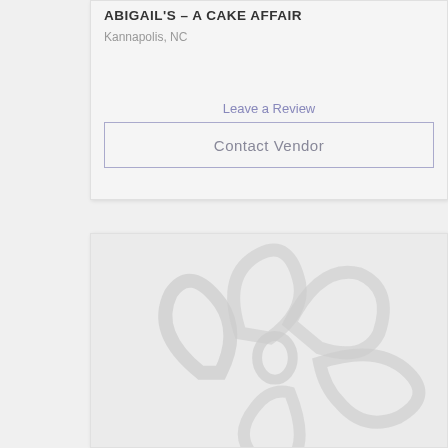ABIGAIL'S – A CAKE AFFAIR
Kannapolis, NC
Leave a Review
Contact Vendor
[Figure (illustration): Decorative flower/floral watermark illustration in light gray on a light gray background, placeholder image card]